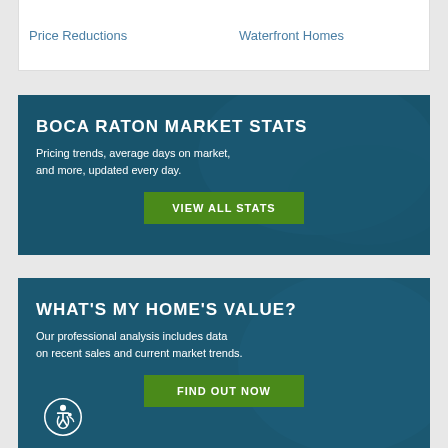Price Reductions
Waterfront Homes
BOCA RATON MARKET STATS
Pricing trends, average days on market, and more, updated every day.
VIEW ALL STATS
WHAT'S MY HOME'S VALUE?
Our professional analysis includes data on recent sales and current market trends.
FIND OUT NOW